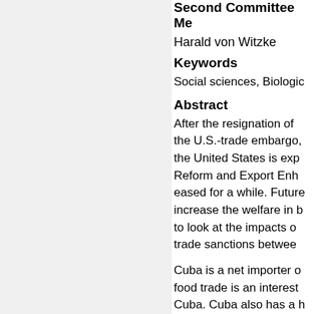Second Committee Me
Harald von Witzke
Keywords
Social sciences, Biologic
Abstract
After the resignation of the U.S.-trade embargo, the United States is exp Reform and Export Enh eased for a while. Future increase the welfare in b to look at the impacts o trade sanctions betwee
Cuba is a net importer o food trade is an interest Cuba. Cuba also has a h exporter of rice; the gai Cuba has an enormous p once the world's largest